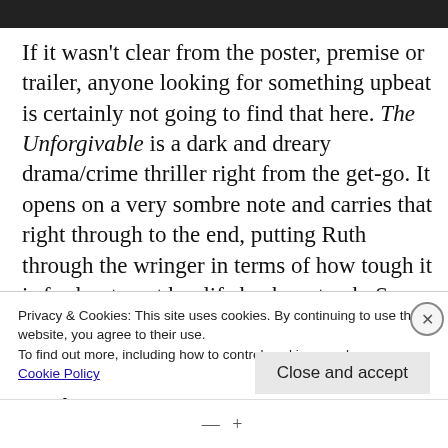[Figure (photo): Dark image strip at top of page, partial photo visible]
If it wasn't clear from the poster, premise or trailer, anyone looking for something upbeat is certainly not going to find that here. The Unforgivable is a dark and dreary drama/crime thriller right from the get-go. It opens on a very sombre note and carries that right through to the end, putting Ruth through the wringer in terms of how tough it is for her to get her life back on track. Some people will be turned off by the at-times depressing nature of the film, but the tone really works for the
Privacy & Cookies: This site uses cookies. By continuing to use this website, you agree to their use.
To find out more, including how to control cookies, see here:
Cookie Policy
Close and accept